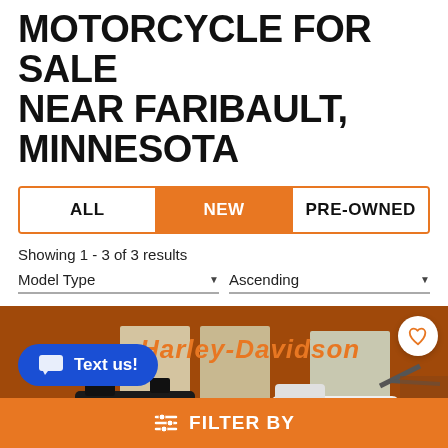MOTORCYCLE FOR SALE NEAR FARIBAULT, MINNESOTA
ALL | NEW | PRE-OWNED (tab selector, NEW active)
Showing 1 - 3 of 3 results
Model Type ▼    Ascending ▼
[Figure (photo): Interior of a Harley-Davidson dealership showroom with motorcycles on display. A white and black Harley-Davidson motorcycle is prominent in the foreground. The Harley Davidson script logo is visible on the orange wall. A heart/favorite icon button is in the top right corner.]
Text us!
≡ FILTER BY